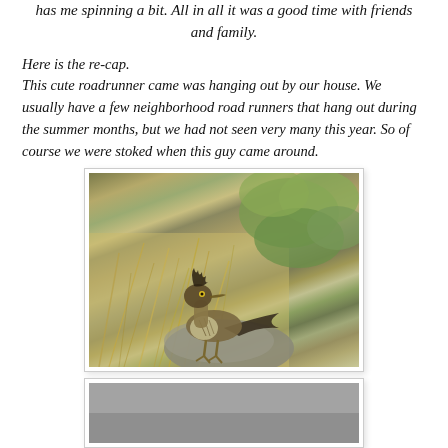has me spinning a bit. All in all it was a good time with friends and family.
Here is the re-cap.
This cute roadrunner came was hanging out by our house. We usually have a few neighborhood road runners that hang out during the summer months, but we had not seen very many this year. So of course we were stoked when this guy came around.
[Figure (photo): A roadrunner bird perched on a rock surrounded by dry grass and leafy green plants in the background.]
[Figure (photo): A partial view of a second photo, appears to show a gray surface, likely a road or pavement.]